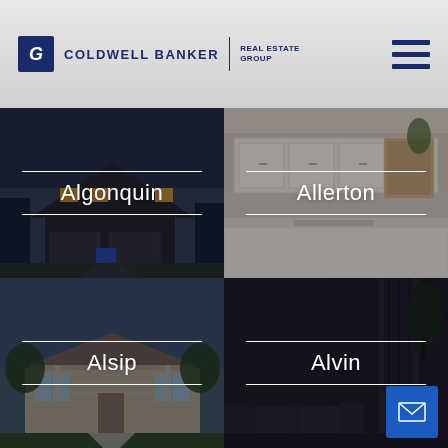[Figure (logo): Coldwell Banker Real Estate Group logo with hamburger menu icon]
[Figure (photo): Algonquin neighborhood photo showing a house exterior at night with overlay text 'Algonquin']
[Figure (photo): Allerton neighborhood photo showing a modern kitchen interior with overlay text 'Allerton']
[Figure (photo): Alsip neighborhood photo showing a ranch-style house exterior with overlay text 'Alsip']
[Figure (photo): Alvin neighborhood photo showing a dark interior living room with overlay text 'Alvin' and email button]